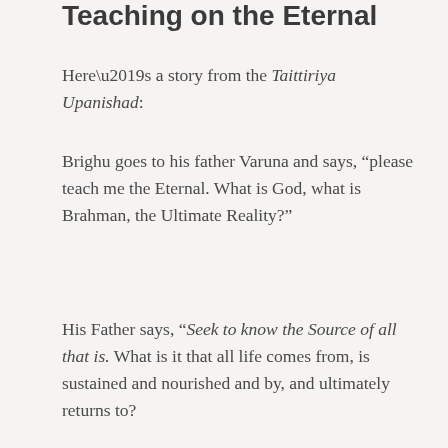Teaching on the Eternal
Here’s a story from the Taittiriya Upanishad:
Brighu goes to his father Varuna and says, “please teach me the Eternal. What is God, what is Brahman, the Ultimate Reality?”
His Father says, “Seek to know the Source of all that is. What is it that all life comes from, is sustained and nourished and by, and ultimately returns to?